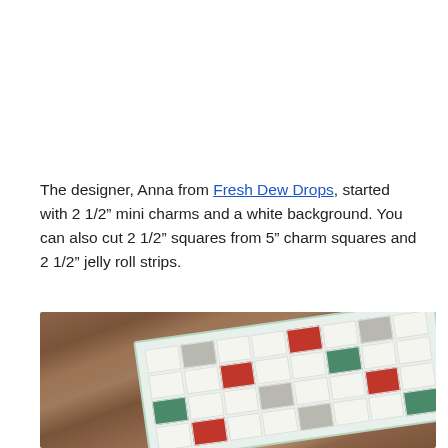The designer, Anna from Fresh Dew Drops, started with 2 1/2" mini charms and a white background. You can also cut 2 1/2" squares from 5" charm squares and 2 1/2" jelly roll strips.
[Figure (photo): A quilted table runner with small patchwork squares in white, gray, red, and green holiday fabrics, laid diagonally on a wooden surface. The runner has a mint/light green border.]